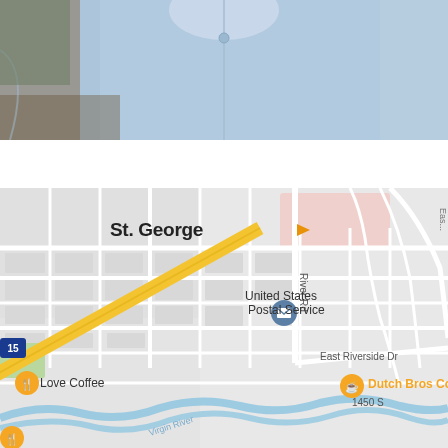[Figure (photo): Top portion of a person wearing a light blue long-sleeve button-up shirt, showing torso and arms only, photographed against a wooden or neutral background.]
[Figure (map): Google Maps screenshot showing St. George, Utah area. Visible landmarks include United States Postal Service with mail icon, Dutch Bros Coffee with orange cup icon, Love Coffee with orange fork/knife icon, Interstate 15 (I-15) shield, East Riverside Dr label, River Rd label, 1450 S label, Virgin River winding through lower portion, and St. George city label with orange arrow. Yellow diagonal highway/road runs across map from lower-left to upper-right area. Map uses standard Google Maps grey street layout with white roads.]